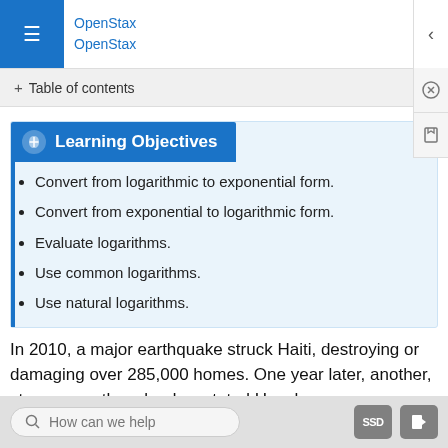OpenStax OpenStax
+ Table of contents
Learning Objectives
Convert from logarithmic to exponential form.
Convert from exponential to logarithmic form.
Evaluate logarithms.
Use common logarithms.
Use natural logarithms.
In 2010, a major earthquake struck Haiti, destroying or damaging over 285,000 homes. One year later, another, stronger earthquake devastated Honshu…